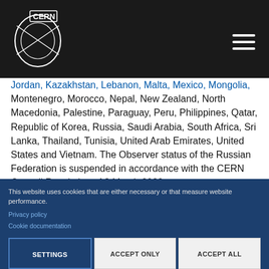CERN logo and navigation header
Jordan, Kazakhstan, Lebanon, Malta, Mexico, Mongolia, Montenegro, Morocco, Nepal, New Zealand, North Macedonia, Palestine, Paraguay, Peru, Philippines, Qatar, Republic of Korea, Russia, Saudi Arabia, South Africa, Sri Lanka, Thailand, Tunisia, United Arab Emirates, United States and Vietnam. The Observer status of the Russian Federation is suspended in accordance with the CERN Council Resolution of 8 March 2022.
CERN also has scientific contacts with Bahrain, Costa Rica, Cuba, Ghana, Honduras, Hong Kong, Indonesia, Ireland, Kuwait, Luxembourg, Oman, Madagascar, Malaysia, Mauritius
This website uses cookies that are either necessary or that measure website performance.
Privacy policy
Cookie documentation
SETTINGS
ACCEPT ONLY NECESSARY
ACCEPT ALL